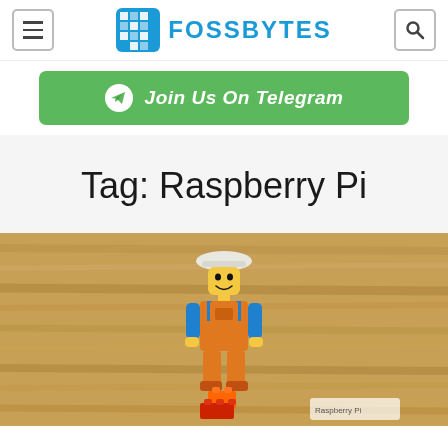FOSSBYTES
[Figure (infographic): Green banner with Telegram icon saying 'Join Us On Telegram']
Tag: Raspberry Pi
[Figure (photo): A LEGO minifigure wearing a hard hat and blue shirt with orange overalls, standing on orange and red LEGO bricks, against a wooden background]